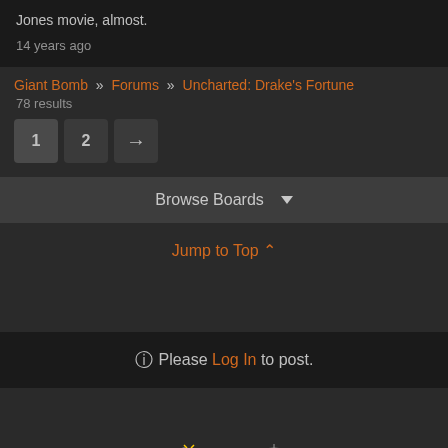Jones movie, almost.
14 years ago
Giant Bomb » Forums » Uncharted: Drake's Fortune
78 results
Browse Boards ▼
Jump to Top ⋀
⊕ Please Log In to post.
[Figure (logo): Giant Bomb and GameSpot logos at the bottom of the page]